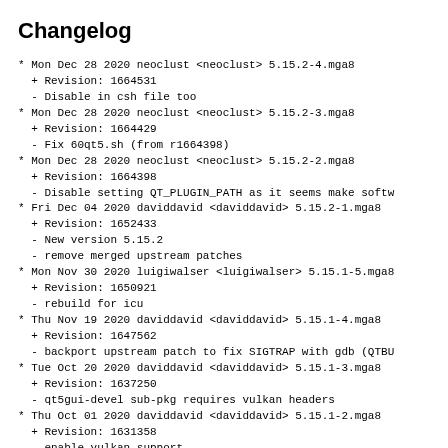Changelog
* Mon Dec 28 2020 neoclust <neoclust> 5.15.2-4.mga8
  + Revision: 1664531
  - Disable in csh file too
* Mon Dec 28 2020 neoclust <neoclust> 5.15.2-3.mga8
  + Revision: 1664429
  - Fix 60qt5.sh (from r1664398)
* Mon Dec 28 2020 neoclust <neoclust> 5.15.2-2.mga8
  + Revision: 1664398
  - Disable setting QT_PLUGIN_PATH as it seems make softw
* Fri Dec 04 2020 daviddavid <daviddavid> 5.15.2-1.mga8
  + Revision: 1652433
  - New version 5.15.2
  - remove merged upstream patches
* Mon Nov 30 2020 luigiwalser <luigiwalser> 5.15.1-5.mga8
  + Revision: 1650921
  - rebuild for icu
* Thu Nov 19 2020 daviddavid <daviddavid> 5.15.1-4.mga8
  + Revision: 1647562
  - backport upstream patch to fix SIGTRAP with gdb (QTBU
* Tue Oct 20 2020 daviddavid <daviddavid> 5.15.1-3.mga8
  + Revision: 1637250
  - qt5gui-devel sub-pkg requires vulkan headers
* Thu Oct 01 2020 daviddavid <daviddavid> 5.15.1-2.mga8
  + Revision: 1631358
  - enable vulkan support
  - backport upstream fix: Emit QScreen::geometryChanged
* Sat Sep 12 2020 daviddavid <daviddavid> 5.15.1-1.mga8